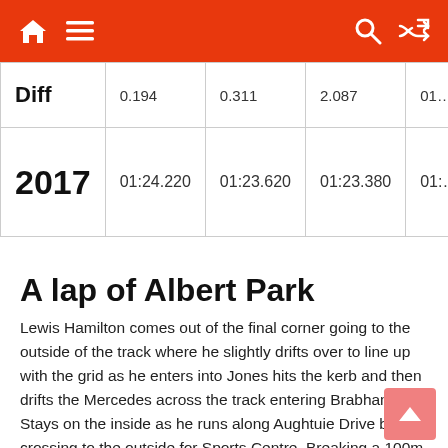Navigation bar with home, menu, search, and shuffle icons
| Diff | 0.194 | 0.311 | 2.087 | 0.1… |
| 2017 | 01:24.220 | 01:23.620 | 01:23.380 | 01:… |
A lap of Albert Park
Lewis Hamilton comes out of the final corner going to the outside of the track where he slightly drifts over to line up with the grid as he enters into Jones hits the kerb and then drifts the Mercedes across the track entering Brabham. Stays on the inside as he runs along Aughtuie Drive before crossing to the outside for Sports Centre. Breaking a 100m before the corner, and runs the car to the outside before returning to the inside. Goes nicely through Hellas and runs the car along the inside nips to the outside briefly going into the ninety degree Whiteford.